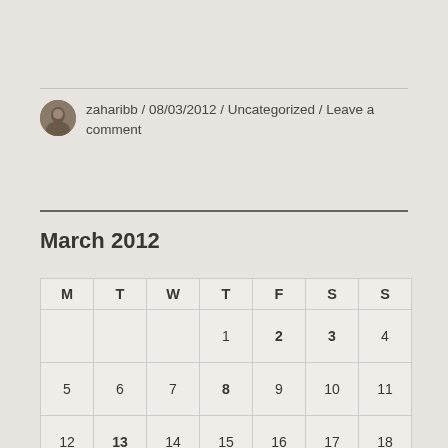zaharibb / 08/03/2012 / Uncategorized / Leave a comment
March 2012
| M | T | W | T | F | S | S |
| --- | --- | --- | --- | --- | --- | --- |
|  |  |  | 1 | 2 | 3 | 4 |
| 5 | 6 | 7 | 8 | 9 | 10 | 11 |
| 12 | 13 | 14 | 15 | 16 | 17 | 18 |
|  |  |  |  |  |  |  |